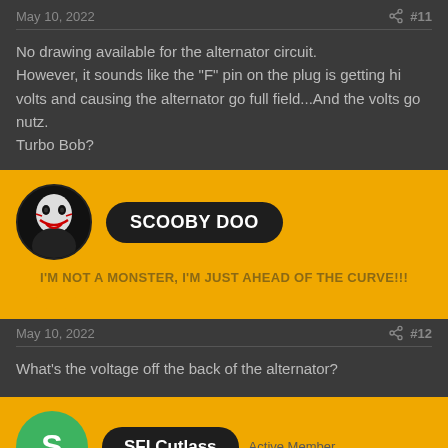May 10, 2022  #11
No drawing available for the alternator circuit.
However, it sounds like the "F" pin on the plug is getting hi volts and causing the alternator go full field...And the volts go nutz.
Turbo Bob?
[Figure (other): User profile banner for SCOOBY DOO with Joker avatar. Motto: I'M NOT A MONSTER, I'M JUST AHEAD OF THE CURVE!!!]
May 10, 2022  #12
What's the voltage off the back of the alternator?
[Figure (other): User profile banner for SFI Cutlass, Active Member, with green avatar showing letter S]